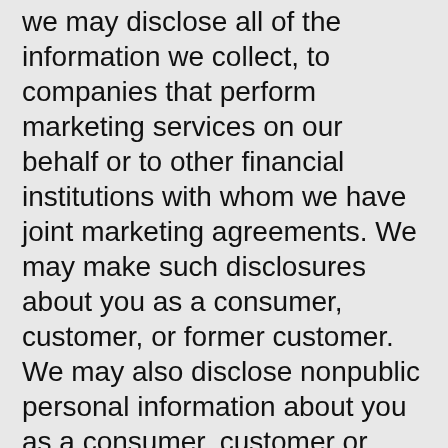we may disclose all of the information we collect, to companies that perform marketing services on our behalf or to other financial institutions with whom we have joint marketing agreements. We may make such disclosures about you as a consumer, customer, or former customer. We may also disclose nonpublic personal information about you as a consumer, customer or former customer, to nonaffiliated third parties as permitted by law.
I agree with the terms above, and request that my creditworthiness be evaluated, at no cost to me, in order